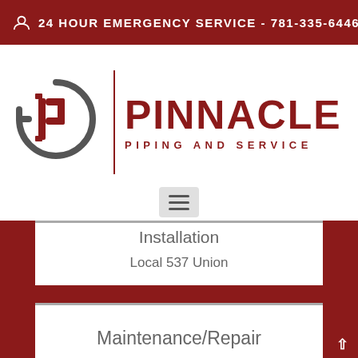24 HOUR EMERGENCY SERVICE - 781-335-6446
[Figure (logo): Pinnacle Piping and Service company logo with circular pipe icon and company name]
Installation
Local 537 Union
Maintenance/Repair